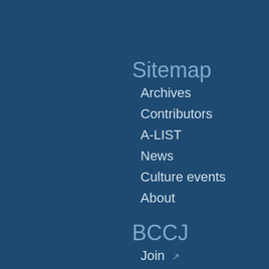Sitemap
Archives
Contributors
A-LIST
News
Culture events
About
BCCJ
Join ↗
Events ↗
Directory ↗
Contact ↗